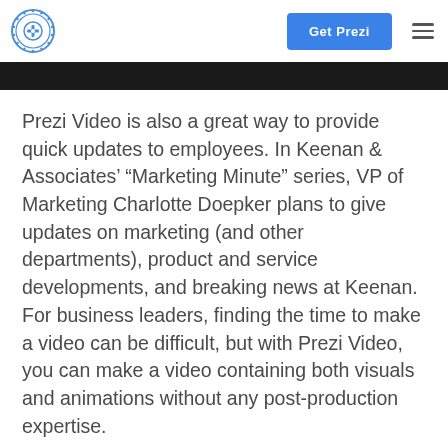Prezi logo | Get Prezi | hamburger menu
[Figure (other): Black banner bar at the top of content area]
Prezi Video is also a great way to provide quick updates to employees. In Keenan & Associates’ “Marketing Minute” series, VP of Marketing Charlotte Doepker plans to give updates on marketing (and other departments), product and service developments, and breaking news at Keenan. For business leaders, finding the time to make a video can be difficult, but with Prezi Video, you can make a video containing both visuals and animations without any post-production expertise.